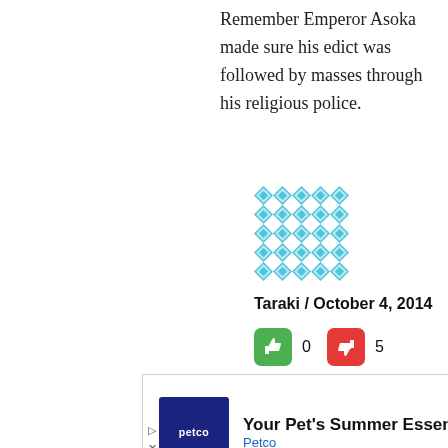Remember Emperor Asoka made sure his edict was followed by masses through his religious police.
[Figure (illustration): User avatar: teal/blue geometric diamond pattern square image]
Taraki / October 4, 2014
[Figure (infographic): Green thumbs-up icon showing 0 votes, red thumbs-down icon showing 5 votes]
‘Remember Emperor Asoka made sure his edict was followed by masses through his religious police’.
[Figure (infographic): Close (X) button in dark color]
[Figure (screenshot): Petco advertisement banner: Your Pet's Summer Essentials with Petco logo and navigation arrow icon]
[Figure (infographic): Scroll-to-top button (dark background with double up chevrons)]